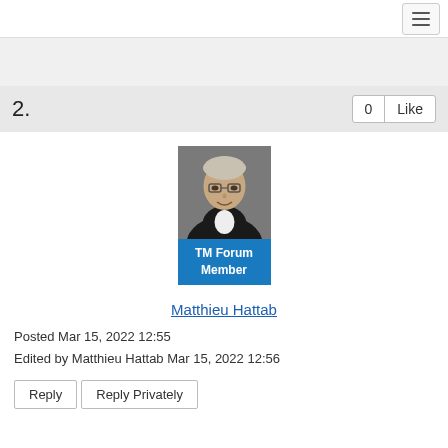Navigation menu button
2.
0  Like
[Figure (photo): Profile photo of Matthieu Hattab, a person with glasses wearing a dark suit, with a blue 'TM Forum Member' badge below]
Matthieu Hattab
Posted Mar 15, 2022 12:55
Edited by Matthieu Hattab Mar 15, 2022 12:56
Reply   Reply Privately